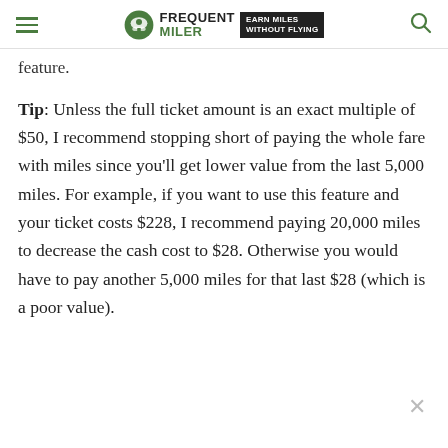Frequent Miler | Earn Miles Without Flying
feature.
Tip: Unless the full ticket amount is an exact multiple of $50, I recommend stopping short of paying the whole fare with miles since you'll get lower value from the last 5,000 miles. For example, if you want to use this feature and your ticket costs $228, I recommend paying 20,000 miles to decrease the cash cost to $28. Otherwise you would have to pay another 5,000 miles for that last $28 (which is a poor value).